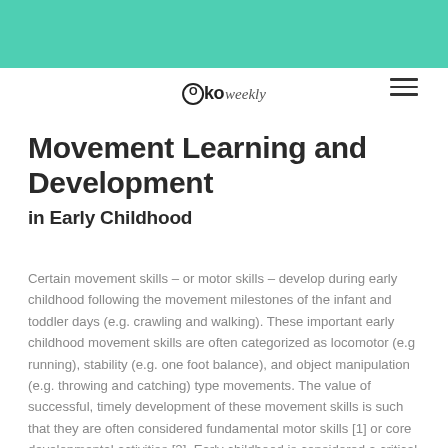[Figure (other): Teal/mint green decorative header bar spanning full width at top of page]
Oko weekly
Movement Learning and Development in Early Childhood
Certain movement skills – or motor skills – develop during early childhood following the movement milestones of the infant and toddler days (e.g. crawling and walking). These important early childhood movement skills are often categorized as locomotor (e.g running), stability (e.g. one foot balance), and object manipulation (e.g. throwing and catching) type movements. The value of successful, timely development of these movement skills is such that they are often considered fundamental motor skills [1] or core developmental activities [2]. Early childhood is considered a critical